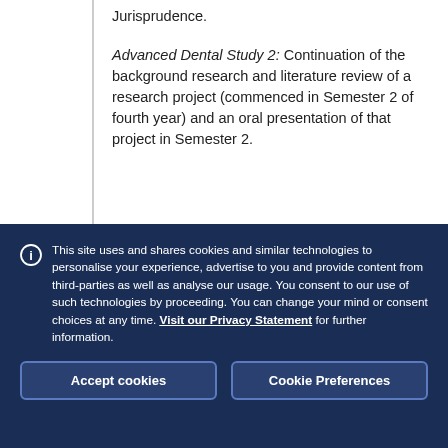Jurisprudence.
Advanced Dental Study 2: Continuation of the background research and literature review of a research project (commenced in Semester 2 of fourth year) and an oral presentation of that project in Semester 2.
This site uses and shares cookies and similar technologies to personalise your experience, advertise to you and provide content from third-parties as well as analyse our usage. You consent to our use of such technologies by proceeding. You can change your mind or consent choices at any time. Visit our Privacy Statement for further information.
Accept cookies
Cookie Preferences